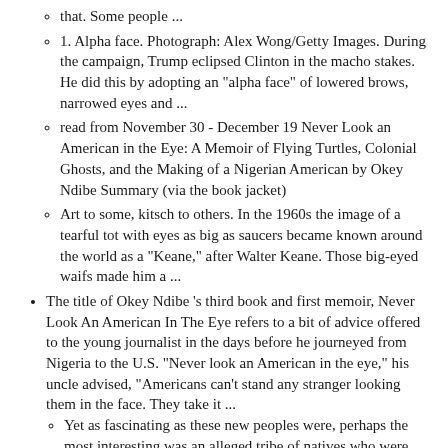that. Some people ...
1. Alpha face. Photograph: Alex Wong/Getty Images. During the campaign, Trump eclipsed Clinton in the macho stakes. He did this by adopting an "alpha face" of lowered brows, narrowed eyes and ...
read from November 30 - December 19 Never Look an American in the Eye: A Memoir of Flying Turtles, Colonial Ghosts, and the Making of a Nigerian American by Okey Ndibe Summary (via the book jacket)
Art to some, kitsch to others. In the 1960s the image of a tearful tot with eyes as big as saucers became known around the world as a "Keane," after Walter Keane. Those big-eyed waifs made him a ...
The title of Okey Ndibe 's third book and first memoir, Never Look An American In The Eye refers to a bit of advice offered to the young journalist in the days before he journeyed from Nigeria to the U.S. "Never look an American in the eye," his uncle advised, "Americans can't stand any stranger looking them in the face. They take it ...
Yet as fascinating as these new peoples were, perhaps the most interesting was an alleged tribe of natives who were said to look decidedly Caucasian in nature. The first reports of what would come to be known as the Mandan tribe began to trickle out from French